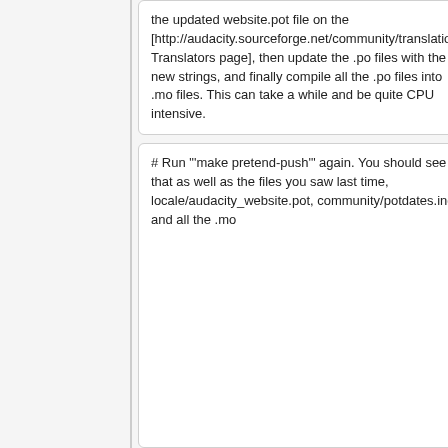the updated website.pot file on the [http://audacity.sourceforge.net/community/translation Translators page], then update the .po files with the new strings, and finally compile all the .po files into .mo files. This can take a while and be quite CPU intensive.
the updated website.pot file on the [http://audacity.sourceforge.net/community/translation Translators page], then update the .po files with the new strings, and finally compile all the .po files into .mo files. This can take a while and be quite CPU intensive.
# Run "'make pretend-push'" again. You should see that as well as the files you saw last time, locale/audacity_website.pot, community/potdates.inc and all the .mo
# Run "'make pretend-push'" again. You should see that as well as the files you saw last time, locale/audacity_website.pot, community/potdates.inc and all the .mo